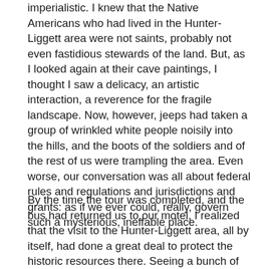imperialistic. I knew that the Native Americans who had lived in the Hunter-Liggett area were not saints, probably not even fastidious stewards of the land. But, as I looked again at their cave paintings, I thought I saw a delicacy, an artistic interaction, a reverence for the fragile landscape. Now, however, jeeps had taken a group of wrinkled white people noisily into the hills, and the boots of the soldiers and of the rest of us were trampling the area. Even worse, our conversation was all about federal rules and regulations and jurisdictions and grants: as if we ever could, really, govern such a mysterious, ineffable place.
By the time the tour was completed, and the bus had returned us to our motel, I realized that the visit to the Hunter-Liggett area, all by itself, had done a great deal to protect the historic resources there. Seeing a bunch of White House appointees crawl all over the property made the Army more attentive. We were confident that, as a result of the visit, the Army would allot some of its men